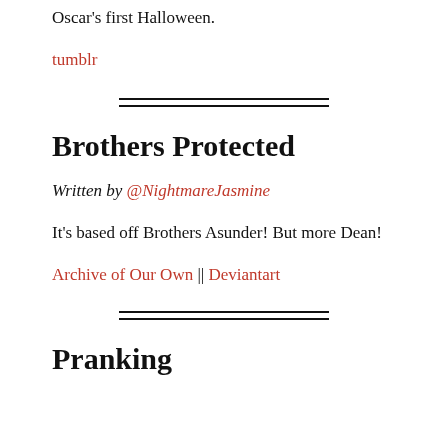Oscar's first Halloween.
tumblr
Brothers Protected
Written by @NightmareJasmine
It's based off Brothers Asunder! But more Dean!
Archive of Our Own || Deviantart
Pranking